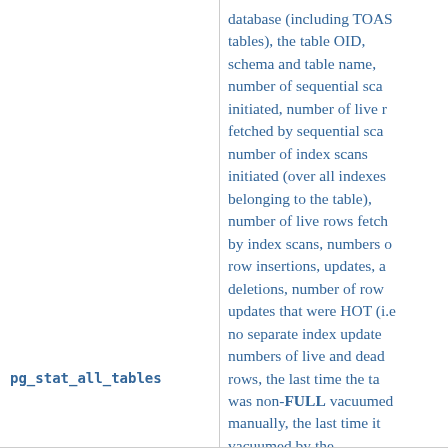| Name | Description |
| --- | --- |
| pg_stat_all_tables | database (including TOAST tables), the table OID, schema and table name, number of sequential scans initiated, number of live rows fetched by sequential scans, number of index scans initiated (over all indexes belonging to the table), number of live rows fetched by index scans, numbers of row insertions, updates, and deletions, number of row updates that were HOT (i.e., no separate index update needed), numbers of live and dead rows, the last time the table was non-FULL vacuumed manually, the last time it was vacuumed by the autovacuum daemon, the... |